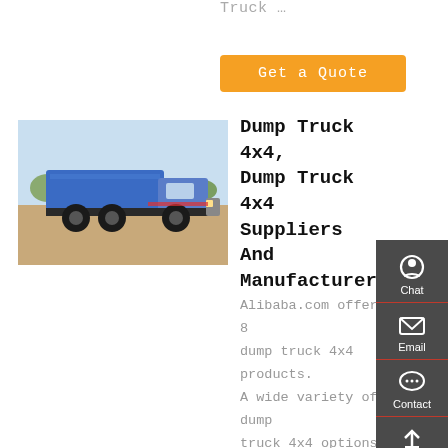Truck …
Get a Quote
[Figure (photo): Blue dump truck photographed outdoors on a dirt surface with trees in the background]
Dump Truck 4x4, Dump Truck 4x4 Suppliers And Manufacturers
Alibaba.com offers 8 dump truck 4x4 products. A wide variety of dump truck 4x4 options are available to you, such as emission standard, capacity (load), and